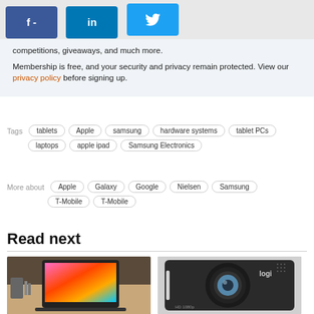[Figure (other): Social media share buttons: Facebook (f -), LinkedIn (in), Twitter (bird icon)]
competitions, giveaways, and much more.

Membership is free, and your security and privacy remain protected. View our privacy policy before signing up.
Tags: tablets  Apple  samsung  hardware systems  tablet PCs  laptops  apple ipad  Samsung Electronics
More about: Apple  Galaxy  Google  Nielsen  Samsung  T-Mobile  T-Mobile
Read next
[Figure (photo): Photo of a MacBook laptop with colorful macOS Big Sur wallpaper on a desk]
[Figure (photo): Photo of a Logitech HD 1080p webcam (logi branded)]